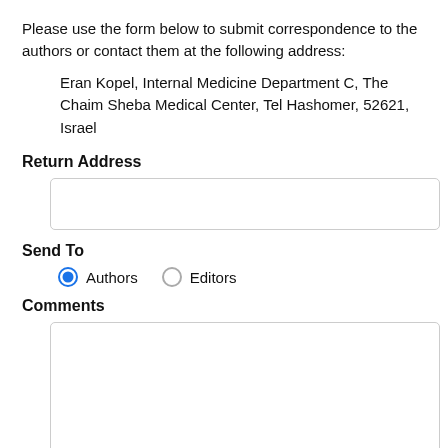Please use the form below to submit correspondence to the authors or contact them at the following address:
Eran Kopel, Internal Medicine Department C, The Chaim Sheba Medical Center, Tel Hashomer, 52621, Israel
Return Address
Send To
Authors  Editors
Comments